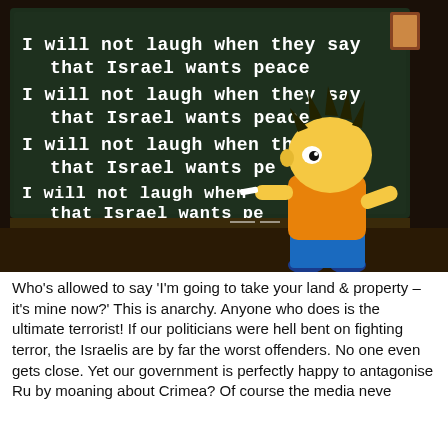[Figure (illustration): A Simpsons-style cartoon image of Bart Simpson writing on a chalkboard. The chalkboard text reads: 'I will not laugh when they say that Israel wants peace' repeated four times (lines 3 and 4 are partially obscured by Bart's figure). Bart stands to the right holding chalk.]
Who's allowed to say 'I'm going to take your land & property – it's mine now?' This is anarchy. Anyone who does is the ultimate terrorist! If our politicians were hell bent on fighting terror, the Israelis are by far the worst offenders. No one even gets close. Yet our government is perfectly happy to antagonise Russia by moaning about Crimea? Of course the media never